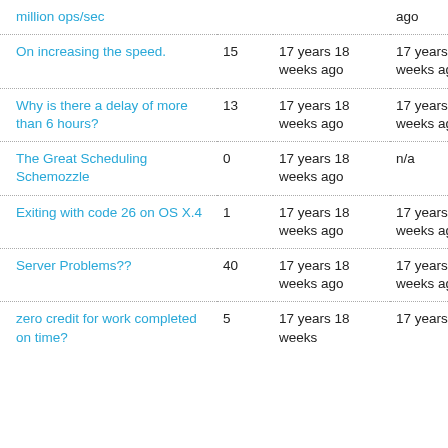| Topic | Replies | Created | Last Reply |
| --- | --- | --- | --- |
| [...] million ops/sec |  |  | ago |
| On increasing the speed. | 15 | 17 years 18 weeks ago | 17 years 18 weeks ago |
| Why is there a delay of more than 6 hours? | 13 | 17 years 18 weeks ago | 17 years 18 weeks ago |
| The Great Scheduling Schemozzle | 0 | 17 years 18 weeks ago | n/a |
| Exiting with code 26 on OS X.4 | 1 | 17 years 18 weeks ago | 17 years 17 weeks ago |
| Server Problems?? | 40 | 17 years 18 weeks ago | 17 years 17 weeks ago |
| zero credit for work completed on time? | 5 | 17 years 18 weeks | 17 years 17 |